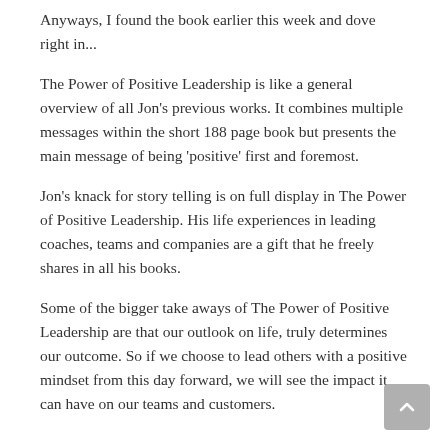Anyways, I found the book earlier this week and dove right in...
The Power of Positive Leadership is like a general overview of all Jon's previous works. It combines multiple messages within the short 188 page book but presents the main message of being 'positive' first and foremost.
Jon's knack for story telling is on full display in The Power of Positive Leadership. His life experiences in leading coaches, teams and companies are a gift that he freely shares in all his books.
Some of the bigger take aways of The Power of Positive Leadership are that our outlook on life, truly determines our outcome. So if we choose to lead others with a positive mindset from this day forward, we will see the impact it can have on our teams and customers.